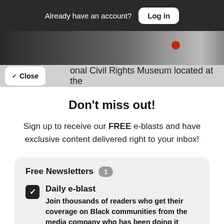Already have an account? Log in
[Figure (photo): Partial photo visible behind UI overlay, dark interior scene with red dot element visible]
onal Civil Rights Museum located at the
Don't miss out!
Sign up to receive our FREE e-blasts and have exclusive content delivered right to your inbox!
Free Newsletters 1
Daily e-blast
Join thousands of readers who get their coverage on Black communities from the media company who has been doing it